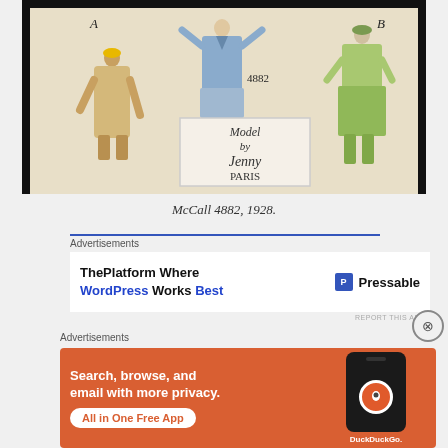[Figure (illustration): Vintage 1928 McCall fashion pattern illustration showing three figures labeled A, B, C wearing different coat/dress styles. Center box reads 'Model by Jenny PARIS'. Number 4882 visible.]
McCall 4882, 1928.
Advertisements
[Figure (other): Advertisement: ThePlatform Where WordPress Works Best — Pressable]
Advertisements
[Figure (other): DuckDuckGo advertisement: Search, browse, and email with more privacy. All in One Free App]